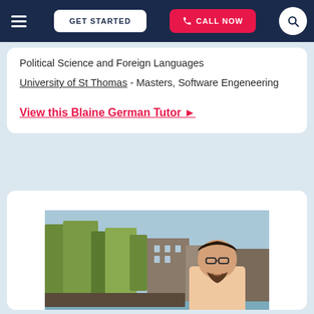[Figure (screenshot): Website navigation bar with hamburger menu, GET STARTED button, CALL NOW button, and search icon on dark navy background]
Political Science and Foreign Languages
University of St Thomas - Masters, Software Engeneering
View this Blaine German Tutor ▶
[Figure (photo): Photo of a young man with glasses smiling, photographed in front of a canal with trees and European-style buildings in Amsterdam]